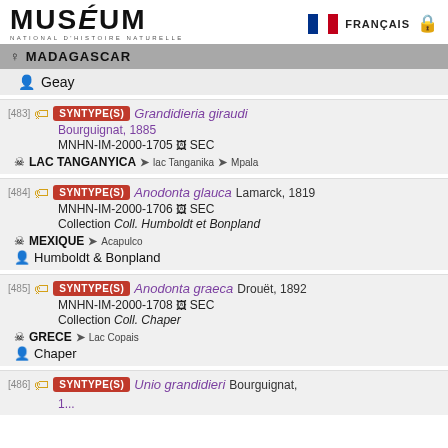MUSÉUM NATIONAL D'HISTOIRE NATURELLE — FRANÇAIS
MADAGASCAR
Geay
[483] SYNTYPE(S) Grandidieria giraudi Bourguignat, 1885 MNHN-IM-2000-1705 SEC — LAC TANGANYICA > lac Tanganika > Mpala
[484] SYNTYPE(S) Anodonta glauca Lamarck, 1819 MNHN-IM-2000-1706 SEC Collection Coll. Humboldt et Bonpland — MEXIQUE > Acapulco — Humboldt & Bonpland
[485] SYNTYPE(S) Anodonta graeca Drouët, 1892 MNHN-IM-2000-1708 SEC Collection Coll. Chaper — GRECE > Lac Copais — Chaper
[486] SYNTYPE(S) Unio grandidieri Bourguignat, 1...